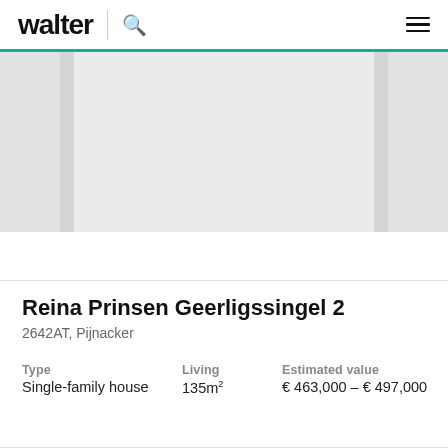walter
[Figure (photo): Property image carousel showing a blurred/placeholder house image with navigation panels on sides]
Reina Prinsen Geerligssingel 2
2642AT, Pijnacker
| Type | Living | Estimated value |
| --- | --- | --- |
| Single-family house | 135m² | € 463,000 – € 497,000 |